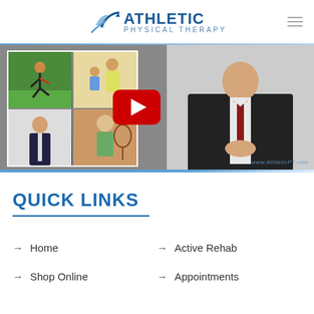[Figure (logo): Athletic Physical Therapy logo with swoosh icon and text]
[Figure (screenshot): Video thumbnail showing collage of patients and a man in a suit, with YouTube play button overlay and www.AthleticPT.com watermark]
QUICK LINKS
Home
Active Rehab
Shop Online
Appointments